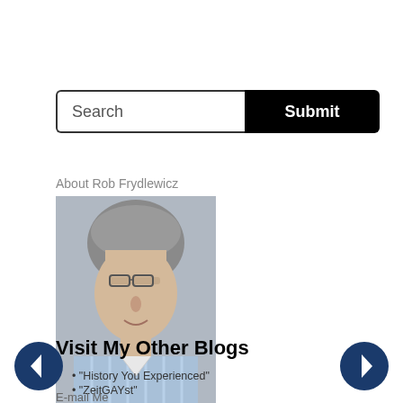[Figure (other): Search bar with text input labeled 'Search' and a black 'Submit' button]
About Rob Frydlewicz
[Figure (photo): Headshot photo of Rob Frydlewicz, a middle-aged man with gray hair and glasses wearing a striped blue shirt]
Visit My Other Blogs
"History You Experienced"
"ZeitGAYst"
E-mail Me
[Figure (other): Left navigation arrow circle (dark blue, white arrow pointing left)]
[Figure (other): Right navigation arrow circle (dark blue, white arrow pointing right)]